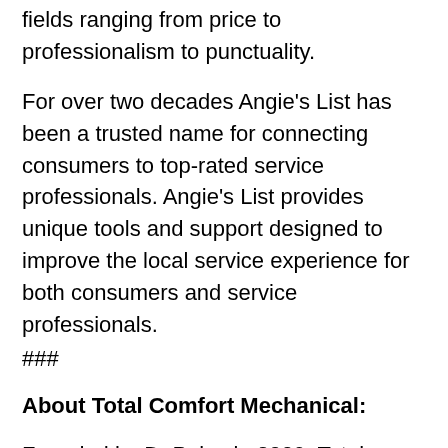fields ranging from price to professionalism to punctuality.
For over two decades Angie's List has been a trusted name for connecting consumers to top-rated service professionals. Angie's List provides unique tools and support designed to improve the local service experience for both consumers and service professionals.
###
About Total Comfort Mechanical:
Founded by DePaiva in 2009, Total Comfort Mechanical has provided outstanding